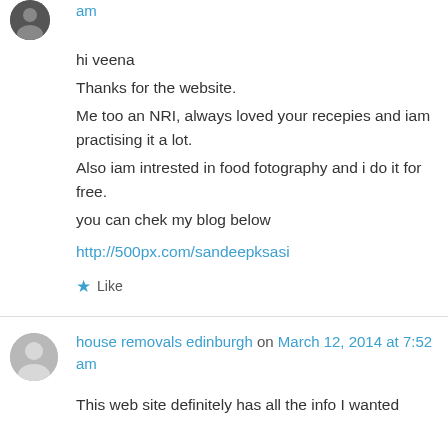am
hi veena
Thanks for the website.
Me too an NRI, always loved your recepies and iam practising it a lot.
Also iam intrested in food fotography and i do it for free.
you can chek my blog below
http://500px.com/sandeepksasi
Like
house removals edinburgh on March 12, 2014 at 7:52 am
This web site definitely has all the info I wanted